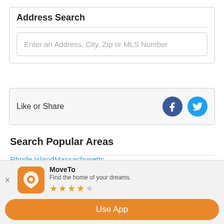Address Search
Enter an Address, City, Zip or MLS Number
Like or Share
Search Popular Areas
Rhode Island
Massachusetts
Maine
Connecticut
New Hampshire
MoveTo
Find the home of your dreams.
★★★★☆
Use App